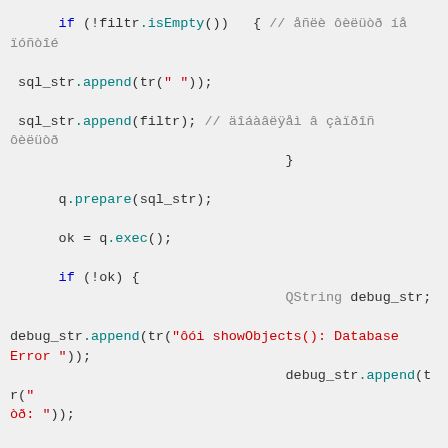[Figure (screenshot): Source code snippet in C++/Qt showing SQL filter logic with colored syntax highlighting on a light gray background. Code includes if(!filtr.isEmpty()) block, sql_str.append calls, q.prepare, q.exec, error handling with debug_str.]